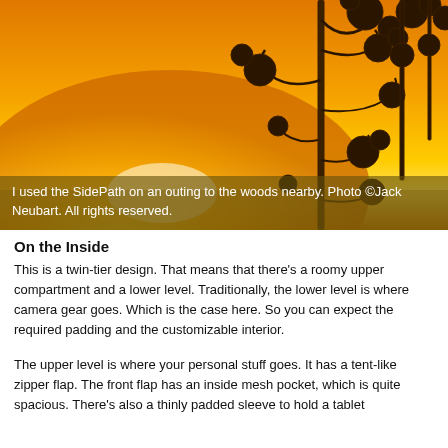[Figure (photo): A silhouette of dried wildflowers/plants against a vivid orange and yellow sunset sky, with a bright light source near the horizon creating a warm golden gradient.]
I used the SidePath on an outing to the woods nearby. Photo ©Jack Neubart. All rights reserved.
On the Inside
This is a twin-tier design. That means that there's a roomy upper compartment and a lower level. Traditionally, the lower level is where camera gear goes. Which is the case here. So you can expect the required padding and the customizable interior.
The upper level is where your personal stuff goes. It has a tent-like zipper flap. The front flap has an inside mesh pocket, which is quite spacious. There's also a thinly padded sleeve to hold a tablet